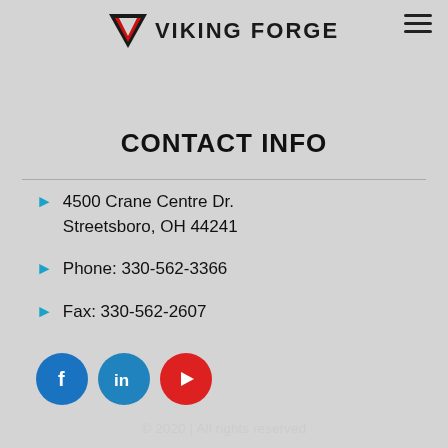[Figure (logo): Viking Forge logo — red downward triangle with VF, bold black text VIKING FORGE]
CONTACT INFO
4500 Crane Centre Dr.
Streetsboro, OH 44241
Phone: 330-562-3366
Fax: 330-562-2607
[Figure (infographic): Social media icons: Facebook (blue circle with white f), LinkedIn (blue circle with white in), YouTube (red circle with white play button)]
© 2020 | All rights reserved